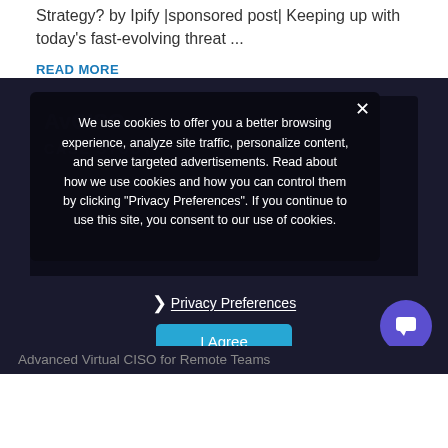Strategy? by Ipify |sponsored post| Keeping up with today's fast-evolving threat ...
READ MORE
[Figure (screenshot): Cookie consent modal overlay on a dark background with AvCISO branding. The modal contains cookie policy text and Privacy Preferences / I Agree buttons. A purple chat bubble icon is visible in the lower right.]
Advanced Virtual CISO for Remote Teams